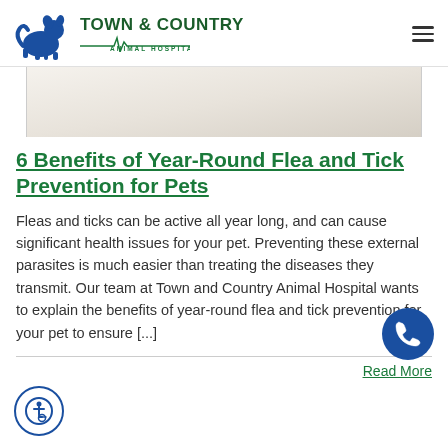[Figure (logo): Town & Country Animal Hospital logo with dog/cat silhouette and ECG line]
6 Benefits of Year-Round Flea and Tick Prevention for Pets
Fleas and ticks can be active all year long, and can cause significant health issues for your pet. Preventing these external parasites is much easier than treating the diseases they transmit. Our team at Town and Country Animal Hospital wants to explain the benefits of year-round flea and tick prevention for your pet to ensure [...]
Read More